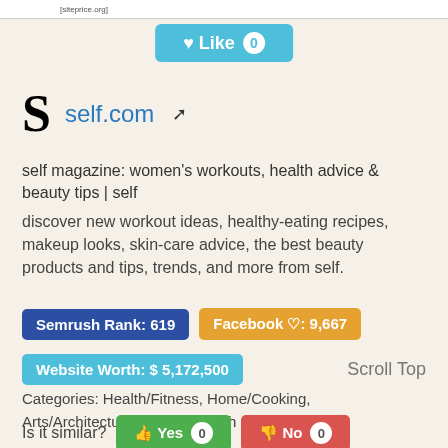[siteprice.org]
[Figure (other): Like button with heart icon and count 0]
[Figure (logo): self.com site logo - large S letter with site name and external link icon]
self magazine: women's workouts, health advice & beauty tips | self
discover new workout ideas, healthy-eating recipes, makeup looks, skin-care advice, the best beauty products and tips, trends, and more from self.
Semrush Rank: 619   Facebook ♡: 9,667
Website Worth: $ 5,172,500   Scroll Top
Categories: Health/Fitness, Home/Cooking, Arts/Architecture, Health, Health and Wellness
Is it similar?  Yes 0  No 0